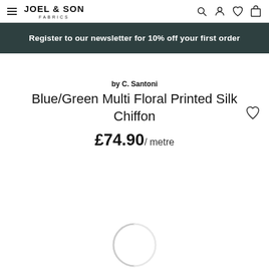JOEL & SON FABRICS — navigation header with hamburger menu and icons
Register to our newsletter for 10% off your first order
by C. Santoni
Blue/Green Multi Floral Printed Silk Chiffon
£74.90/ metre